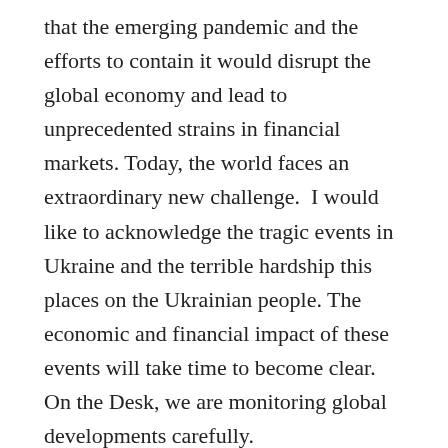that the emerging pandemic and the efforts to contain it would disrupt the global economy and lead to unprecedented strains in financial markets. Today, the world faces an extraordinary new challenge.  I would like to acknowledge the tragic events in Ukraine and the terrible hardship this places on the Ukrainian people. The economic and financial impact of these events will take time to become clear.  On the Desk, we are monitoring global developments carefully.
My remarks today will begin by looking back at the pandemic crisis and the historic policy response. Starting in March 2020, the Federal Reserve took a set of extraordinary measures in response to the extreme economic stresses and dislocations in the global financial system that were triggered by the